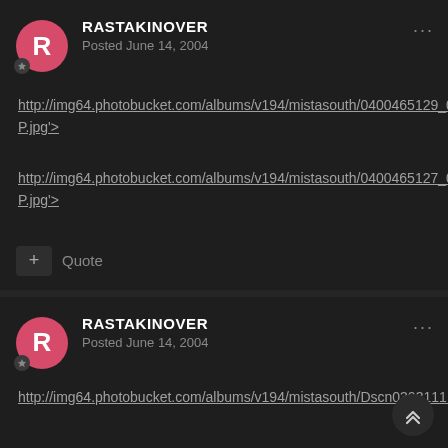RASTAKINOVER — Posted June 14, 2004
http://img64.photobucket.com/albums/v194/mistasouth/0400465129_001P.jpg>
http://img64.photobucket.com/albums/v194/mistasouth/0400465127_001P.jpg>
+ Quote
RASTAKINOVER — Posted June 14, 2004
http://img64.photobucket.com/albums/v194/mistasouth/Dscn0303111.jpg